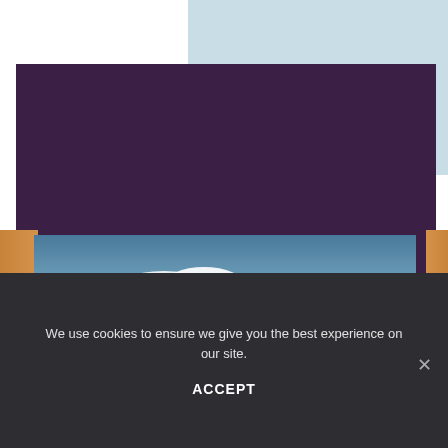[Figure (screenshot): Website screenshot with overlapping purple and light-blue banner sections, a sky/cloud photographic strip, and a medium purple section below]
We use cookies to ensure we give you the best experience on our site.
ACCEPT